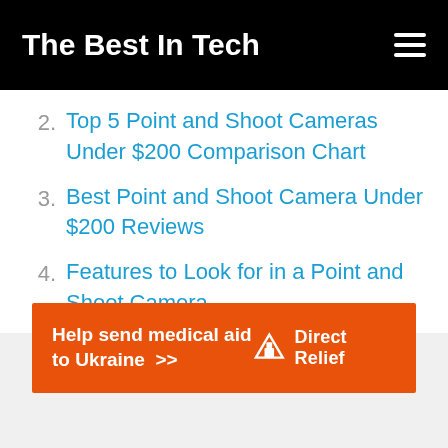The Best In Tech
2. Top 5 Point and Shoot Cameras Under $200 Comparison Chart
3. Best Point and Shoot Camera Under $200 Reviews
4. Features to Look for in a Point and Shoot Camera
5. Final Verdict
[Figure (other): Direct Relief advertisement banner: 'Help send medical aid to Ukraine >>' with Direct Relief logo on orange background]